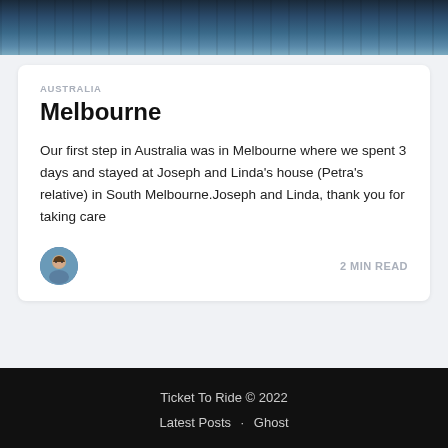[Figure (photo): A dark aerial or waterside photo showing water reflections and a dark shoreline, cropped at the top of the page]
AUSTRALIA
Melbourne
Our first step in Australia was in Melbourne where we spent 3 days and stayed at Joseph and Linda's house (Petra's relative) in South Melbourne.Joseph and Linda, thank you for taking care
[Figure (photo): Small circular avatar photo of a person, illustrated or cartoon style]
2 MIN READ
Ticket To Ride © 2022
Latest Posts · Ghost